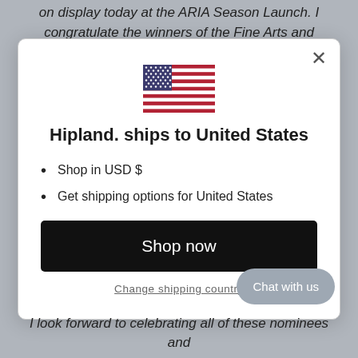on display today at the ARIA Season Launch. I congratulate the winners of the Fine Arts and Artisan
[Figure (screenshot): Modal dialog on a website showing a US flag, the message 'Hipland. ships to United States', bullet points for 'Shop in USD $' and 'Get shipping options for United States', a black 'Shop now' button, a 'Change shipping country' link, and a 'Chat with us' button in the bottom right corner.]
I look forward to celebrating all of these nominees and